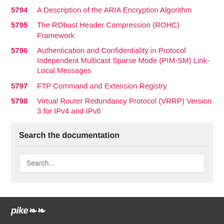5794 A Description of the ARIA Encryption Algorithm
5795 The RObust Header Compression (ROHC) Framework
5796 Authentication and Confidentiality in Protocol Independent Multicast Sparse Mode (PIM-SM) Link-Local Messages
5797 FTP Command and Extension Registry
5798 Virtual Router Redundancy Protocol (VRRP) Version 3 for IPv4 and IPv6
Search the documentation
pike